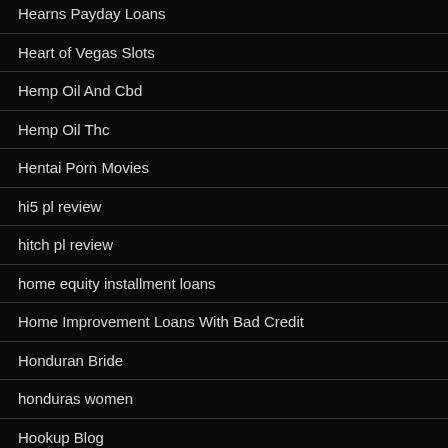Hearns Payday Loans
Heart of Vegas Slots
Hemp Oil And Cbd
Hemp Oil Thc
Hentai Porn Movies
hi5 pl review
hitch pl review
home equity installment loans
Home Improvement Loans With Bad Credit
Honduran Bride
honduras women
Hookup Blog
Hookup Dating